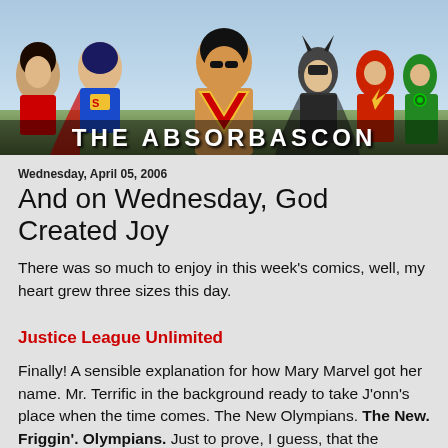[Figure (illustration): The Absorbascon blog banner featuring comic book superheroes including Wonder Woman, Superman, a central muscular hero with a red V-shaped emblem, Batman, The Flash, Green Lantern, and others. White text at the bottom reads 'THE ABSORBASCON'.]
Wednesday, April 05, 2006
And on Wednesday, God Created Joy
There was so much to enjoy in this week's comics, well, my heart grew three sizes this day.
Justice League Unlimited
Finally! A sensible explanation for how Mary Marvel got her name. Mr. Terrific in the background ready to take J'onn's place when the time comes. The New Olympians. The New. Friggin'. Olympians. Just to prove, I guess, that the